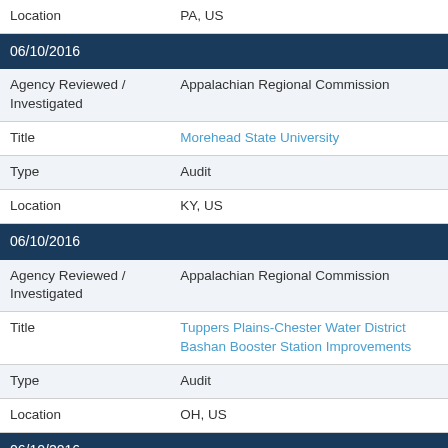| Location | PA, US |
| 06/10/2016 |  |
| Agency Reviewed / Investigated | Appalachian Regional Commission |
| Title | Morehead State University |
| Type | Audit |
| Location | KY, US |
| 06/10/2016 |  |
| Agency Reviewed / Investigated | Appalachian Regional Commission |
| Title | Tuppers Plains-Chester Water District Bashan Booster Station Improvements |
| Type | Audit |
| Location | OH, US |
| 06/10/2016 |  |
| Agency Reviewed / Investigated | Appalachian Regional Commission |
| Title | Tuppers Plains-Chester Water District |